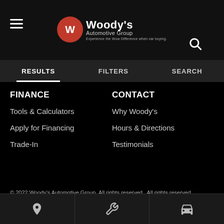[Figure (logo): Woody's Automotive Group logo with red W emblem]
RESULTS  FILTERS  SEARCH
FINANCE
Tools & Calculators
Apply for Financing
Trade-In
CONTACT
Why Woody's
Hours & Directions
Testimonials
© 2022 Woody's Automotive Group. All rights reserved.. All rights reserved.
Dealer websites by Jazel Auto
Privacy Policy | Sitemap